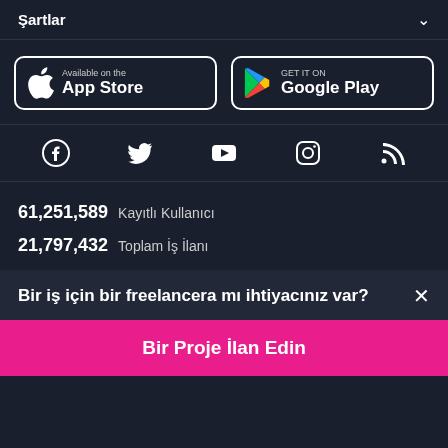Şartlar
[Figure (logo): App Store download button with Apple logo]
[Figure (logo): Google Play download button with Play logo]
[Figure (infographic): Social media icons: Facebook, Twitter, YouTube, Instagram, RSS]
61,251,589  Kayıtlı Kullanıcı
21,797,432  Toplam İş İlanı
Bir iş için bir freelancera mı ihtiyacınız var?  ×
Bir Proje İlan Edin